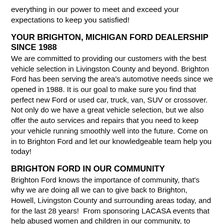everything in our power to meet and exceed your expectations to keep you satisfied!
YOUR BRIGHTON, MICHIGAN FORD DEALERSHIP SINCE 1988
We are committed to providing our customers with the best vehicle selection in Livingston County and beyond. Brighton Ford has been serving the area's automotive needs since we opened in 1988. It is our goal to make sure you find that perfect new Ford or used car, truck, van, SUV or crossover. Not only do we have a great vehicle selection, but we also offer the auto services and repairs that you need to keep your vehicle running smoothly well into the future. Come on in to Brighton Ford and let our knowledgeable team help you today!
BRIGHTON FORD IN OUR COMMUNITY
Brighton Ford knows the importance of community, that's why we are doing all we can to give back to Brighton, Howell, Livingston County and surrounding areas today, and for the last 28 years!  From sponsoring LACASA events that help abused women and children in our community, to